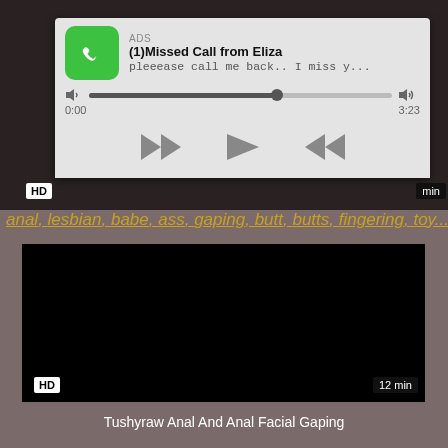[Figure (screenshot): Ad popup overlay showing a missed call notification with phone icon, title '(1)Missed Call from Eliza', subtitle 'pleeease call me back.. I miss y...', audio progress bar at 62%, timestamps 0:00 and 3:23, and media playback controls (rewind, play, fast-forward)]
HD
min
anal, lesbian, babe, ass, gaping, butt, butts, fingering, toy...
[Figure (screenshot): Black video thumbnail]
HD
12 min
Tushyraw Anal And Anal Facial Gaping